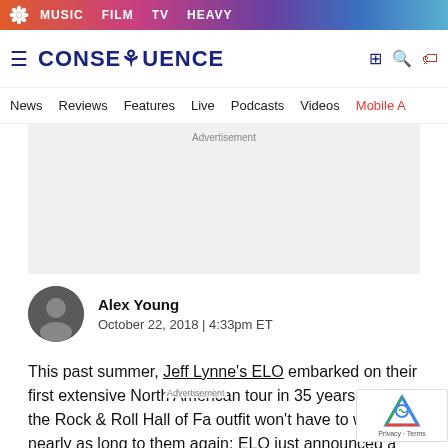MUSIC  FILM  TV  HEAVY
CONSEQUENCE
News  Reviews  Features  Live  Podcasts  Videos  Mobile A
[Figure (other): Advertisement placeholder box with gray background]
[Figure (photo): Circular author avatar photo of Alex Young]
Alex Young
October 22, 2018 | 4:33pm ET
This past summer, Jeff Lynne's ELO embarked on their first extensive North American tour in 35 years. Fans of the Rock & Roll Hall of Fa outfit won't have to wait nearly as long to them again; ELO just announced a new 20-